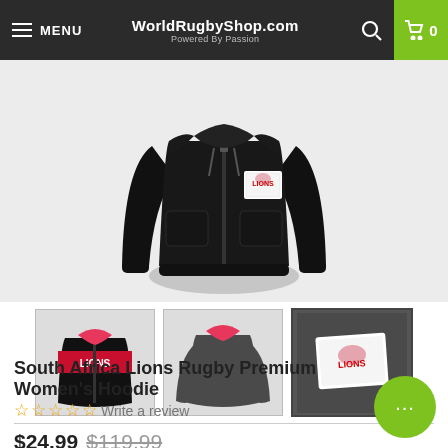MENU | WorldRugbyShop.com | Powered By Passion
[Figure (photo): Large product photo of a black Lions rugby zip-up hoodie with a Lions badge patch on the chest]
[Figure (photo): Thumbnail 1: Front view of black and red Lions hoodie with LIONS lettering across chest]
[Figure (photo): Thumbnail 2: Rear view of dark grey Lions hoodie with pink hood]
[Figure (photo): Thumbnail 3: Close-up of Lions badge/patch on dark grey background]
South Africa Lions Rugby Premium Women's Hoodie
☆ ☆ ☆ ☆ ☆ Write a review
$24.99 $119.99